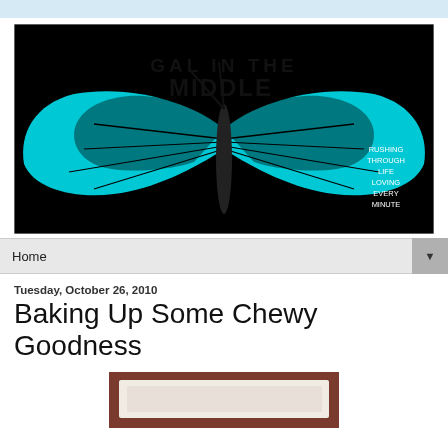[Figure (illustration): Blog header banner showing a large blue and black butterfly with spread wings. Text on the image reads 'GAL IN THE MIDDLE' in large hand-drawn lettering, and smaller text on the right side reads 'RUSHING THROUGH LIFE LOVING EVERY MINUTE'.]
Home
Tuesday, October 26, 2010
Baking Up Some Chewy Goodness
[Figure (photo): Partial photo showing baked goods on a surface with reddish-brown background, cut off at bottom of page.]